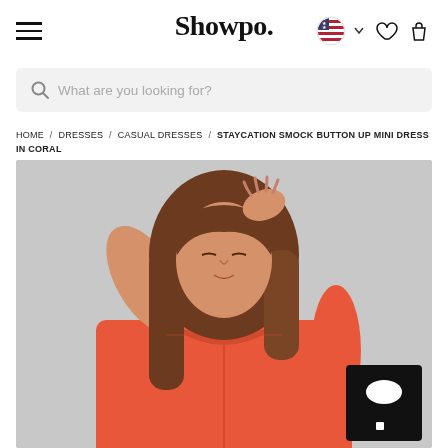Showpo.
What are you looking for?
HOME / DRESSES / CASUAL DRESSES / STAYCATION SMOCK BUTTON UP MINI DRESS IN CORAL
[Figure (photo): A woman with long brown hair wearing a coral/orange smock button-up mini dress, posed with one hand behind her head against a grey background.]